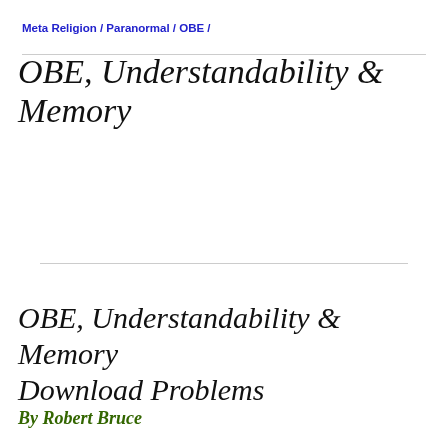Meta Religion / Paranormal / OBE /
OBE, Understandability & Memory
OBE, Understandability & Memory Download Problems
By Robert Bruce